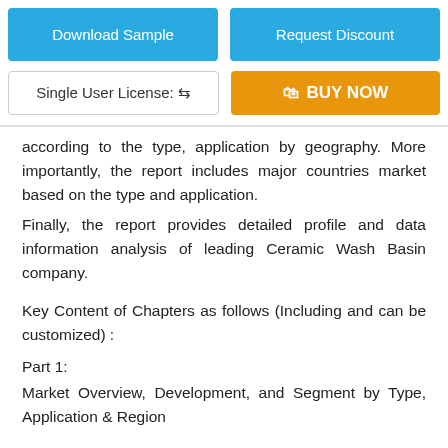Download Sample
Request Discount
Single User License: ↔
🛍 BUY NOW
according to the type, application by geography. More importantly, the report includes major countries market based on the type and application.
Finally, the report provides detailed profile and data information analysis of leading Ceramic Wash Basin company.
Key Content of Chapters as follows (Including and can be customized) :
Part 1:
Market Overview, Development, and Segment by Type, Application & Region